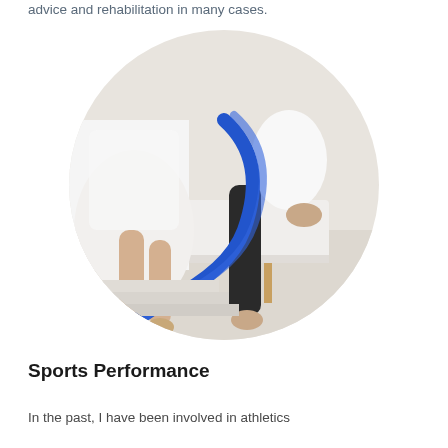advice and rehabilitation in many cases.
[Figure (photo): Circular cropped photo of a physiotherapist using a blue resistance band to stretch or assist a patient's leg. The patient is seated on a white treatment table in a clinical setting.]
Sports Performance
In the past, I have been involved in athletics